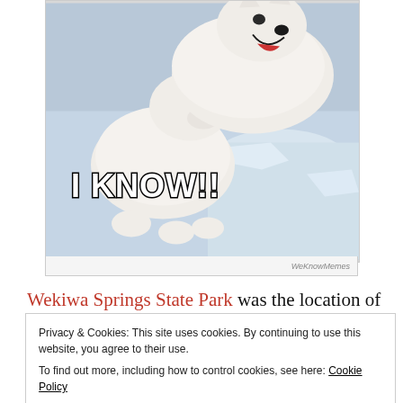[Figure (photo): Meme image showing two white huskies/wolves, one biting the other. Text overlay reads 'I KNOW!!' in bold white letters with black outline. Watermark 'WeKnowMemes' at bottom right.]
Wekiwa Springs State Park was the location of the 2016 Florida State Championship AKA Turkey Burn 12Hr
Privacy & Cookies: This site uses cookies. By continuing to use this website, you agree to their use. To find out more, including how to control cookies, see here: Cookie Policy
Close and accept
first time at the Turkey Burn.  Unfortunately, we were